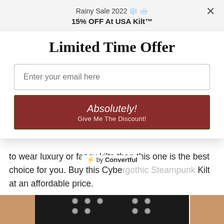Rainy Sale 2022 ❄️❄️
15% OFF At USA Kilt™
Limited Time Offer
Enter your email here
Absolutely!
Give Me The Discount!
to wear luxury or fancy kilts then this one is the best choice for you. Buy this Cybg... ... ...k Kilt at an affordable price.
[Figure (photo): Close-up photo of a person wearing a black kilt with metal studs, rings and hardware details at the waist]